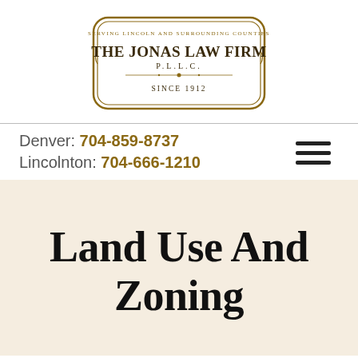[Figure (logo): The Jonas Law Firm PLLC logo — an ornate rectangular badge with double border, text 'SERVING LINCOLN AND SURROUNDING COUNTIES' at top, 'THE JONAS LAW FIRM' in large letters, 'P.L.L.C.' below, a decorative divider, and 'SINCE 1912' at bottom. Colors: gold/brown on white.]
Denver: 704-859-8737
Lincolnton: 704-666-1210
Land Use And Zoning